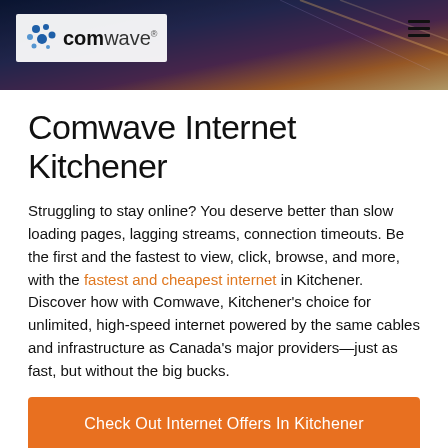[Figure (logo): Comwave logo with blue dot icon and hamburger menu in header with city background]
Comwave Internet Kitchener
Struggling to stay online? You deserve better than slow loading pages, lagging streams, connection timeouts. Be the first and the fastest to view, click, browse, and more, with the fastest and cheapest internet in Kitchener. Discover how with Comwave, Kitchener's choice for unlimited, high-speed internet powered by the same cables and infrastructure as Canada's major providers—just as fast, but without the big bucks.
Check Out Internet Offers In Kitchener
1-866-542-6694